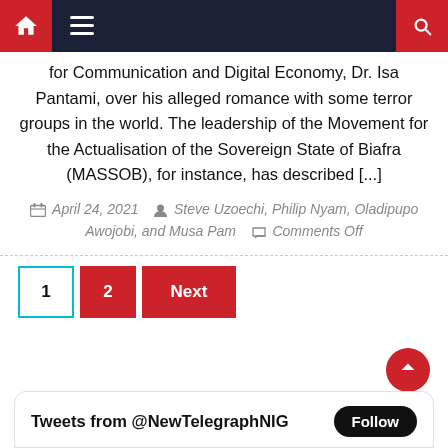Navigation bar with home, menu, and search icons
for Communication and Digital Economy, Dr. Isa Pantami, over his alleged romance with some terror groups in the world. The leadership of the Movement for the Actualisation of the Sovereign State of Biafra (MASSOB), for instance, has described [...]
April 24, 2021   Steve Uzoechi, Philip Nyam, Oladipupo Awojobi, and Musa Pam   Comments Off
1  2  Next
Tweets from @NewTelegraphNIG  Follow